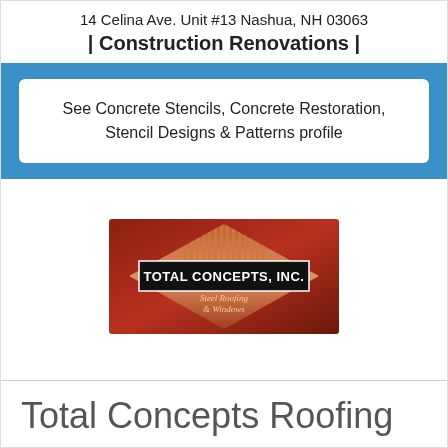14 Celina Ave. Unit #13 Nashua, NH 03063
| Construction Renovations |
See Concrete Stencils, Concrete Restoration, Stencil Designs & Patterns profile
[Figure (logo): Total Concepts Inc. Steel Roofing & Windows logo — diamond shape with dark red gradient background, copper/orange vertical stripe pattern at top of diamond, bold white text 'TOTAL CONCEPTS, INC.' on black bar, italic script 'Steel Roofing & Windows' below]
Total Concepts Roofing